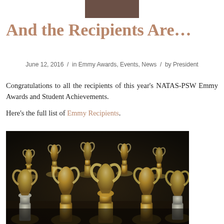[Figure (other): Dark brown/taupe rectangular header bar at top center of page]
And the Recipients Are…
June 12, 2016 / in Emmy Awards, Events, News / by President
Congratulations to all the recipients of this year's NATAS-PSW Emmy Awards and Student Achievements.
Here's the full list of Emmy Recipients.
[Figure (photo): Photo of many Emmy Award statuettes (gold winged figures on black bases) arranged on a table]